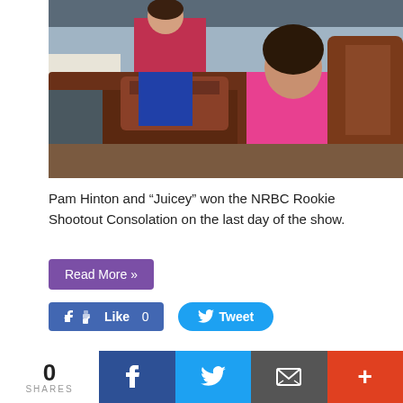[Figure (photo): Photo of Pam Hinton with a horse at the NRBC show, another person on horseback in background.]
Pam Hinton and “Juicey” won the NRBC Rookie Shootout Consolation on the last day of the show.
Read More »
Like 0   Tweet
NRBC 2018 – Stephen Archer and Carolyn Tellepsen – Sunday
0 SHARES